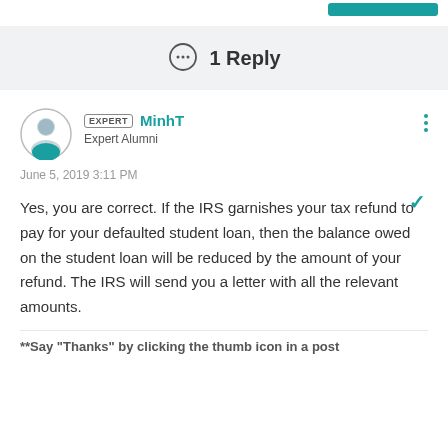1 Reply
EXPERT MinhT
Expert Alumni
June 5, 2019 3:11 PM
Yes, you are correct. If the IRS garnishes your tax refund to pay for your defaulted student loan, then the balance owed on the student loan will be reduced by the amount of your refund. The IRS will send you a letter with all the relevant amounts.
**Say "Thanks" by clicking the thumb icon in a post